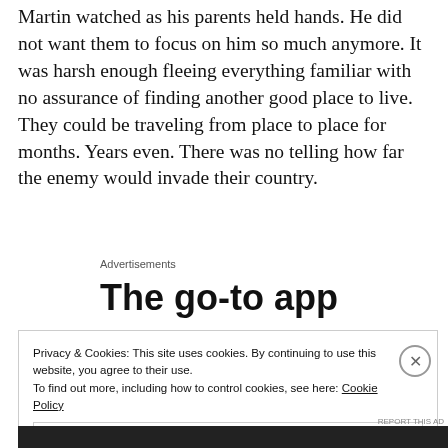Martin watched as his parents held hands. He did not want them to focus on him so much anymore. It was harsh enough fleeing everything familiar with no assurance of finding another good place to live. They could be traveling from place to place for months. Years even. There was no telling how far the enemy would invade their country.
Advertisements
The go-to app
Privacy & Cookies: This site uses cookies. By continuing to use this website, you agree to their use.
To find out more, including how to control cookies, see here: Cookie Policy
Close and accept